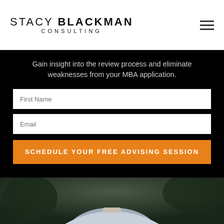STACY BLACKMAN CONSULTING
Gain insight into the review process and eliminate weaknesses from your MBA application.
[Figure (screenshot): First Name input field (white text box on black background)]
[Figure (screenshot): Email input field (white text box on black background)]
SCHEDULE YOUR FREE ADVISING SESSION
[Figure (photo): Partial photo of a person wearing a light blue shirt, cropped at chest/neck level, dark blurred background]